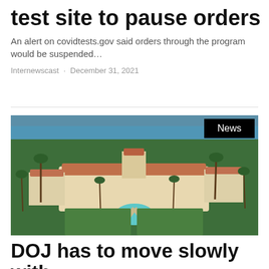test site to pause orders
An alert on covidtests.gov said orders through the program would be suspended…
Internewscast · December 31, 2021
[Figure (photo): Aerial photograph of Mar-a-Lago estate in Palm Beach, Florida, showing the large complex with Mediterranean-style architecture, a swimming pool, surrounded by palm trees and ocean in background. A 'News' label appears in the top right corner.]
DOJ has to move slowly with Mar-a-Lago evidence, ex-hot